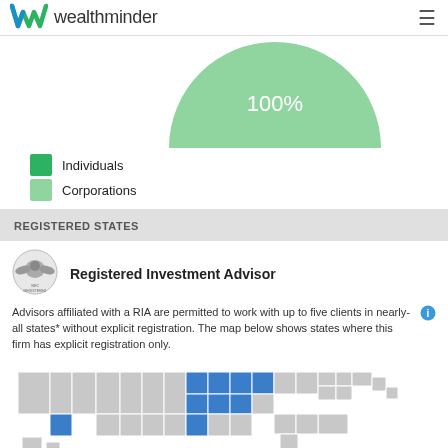[Figure (logo): Wealthminder logo with green/blue W icon and wordmark]
[Figure (pie-chart): Client type breakdown]
Individuals
Corporations
REGISTERED STATES
[Figure (logo): SEC / Registered Investment Advisor seal logo]
Registered Investment Advisor
Advisors affiliated with a RIA are permitted to work with up to five clients in nearly-all states* without explicit registration. The map below shows states where this firm has explicit registration only.
[Figure (map): US map showing states with explicit registration highlighted in blue, others in gray]